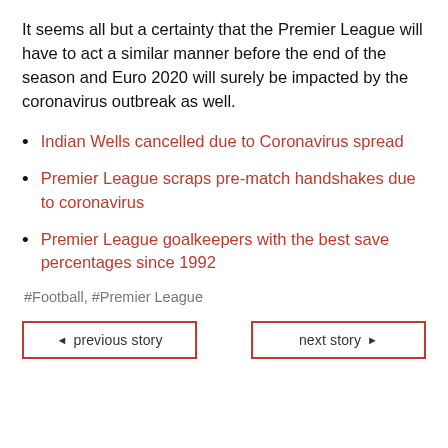It seems all but a certainty that the Premier League will have to act a similar manner before the end of the season and Euro 2020 will surely be impacted by the coronavirus outbreak as well.
Indian Wells cancelled due to Coronavirus spread
Premier League scraps pre-match handshakes due to coronavirus
Premier League goalkeepers with the best save percentages since 1992
#Football, #Premier League
◄ previous story | next story ►